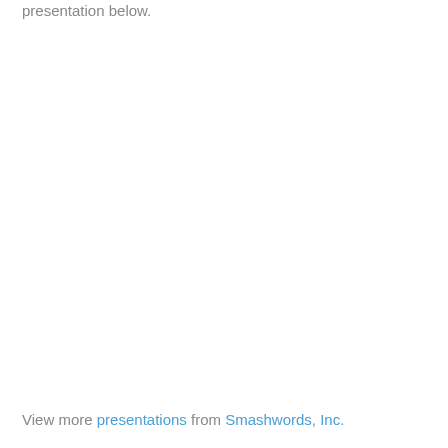presentation below.
View more presentations from Smashwords, Inc.